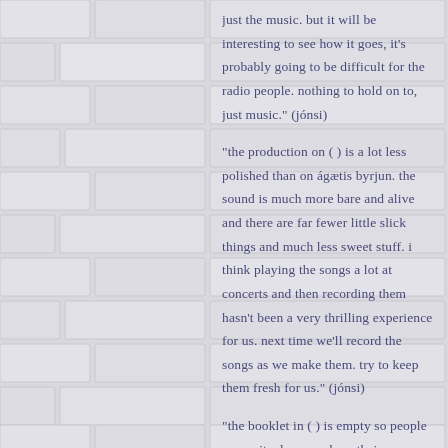just the music. but it will be interesting to see how it goes, it's probably going to be difficult for the radio people. nothing to hold on to, just music." (jónsi)
"the production on ( ) is a lot less polished than on ágætis byrjun. the sound is much more bare and alive and there are far fewer little slick things and much less sweet stuff. i think playing the songs a lot at concerts and then recording them hasn't been a very thrilling experience for us. next time we'll record the songs as we make them. try to keep them fresh for us." (jónsi)
"the booklet in ( ) is empty so people can write down or draw their interpretations of it. it's a kind of "human experience". everyone has their own